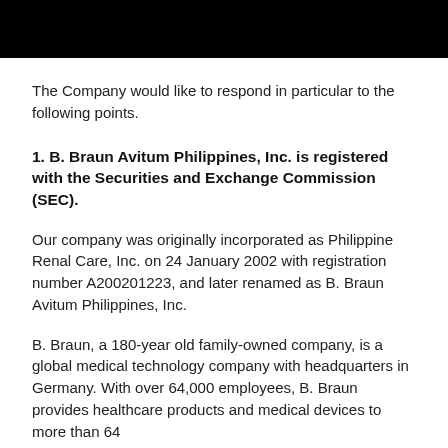[Figure (other): Black header bar at the top of the page]
The Company would like to respond in particular to the following points.
1. B. Braun Avitum Philippines, Inc. is registered with the Securities and Exchange Commission (SEC).
Our company was originally incorporated as Philippine Renal Care, Inc. on 24 January 2002 with registration number A200201223, and later renamed as B. Braun Avitum Philippines, Inc.
B. Braun, a 180-year old family-owned company, is a global medical technology company with headquarters in Germany. With over 64,000 employees, B. Braun provides healthcare products and medical devices to more than 64